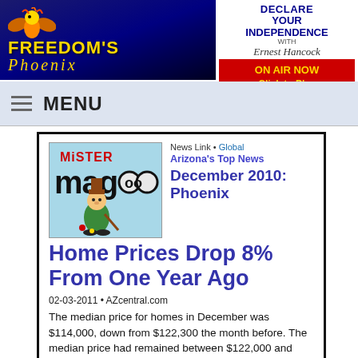[Figure (logo): Freedom's Phoenix website header logo with phoenix bird graphic on dark blue background]
[Figure (logo): Declare Your Independence with Ernest Hancock banner with ON AIR NOW Click to Play red button]
MENU
[Figure (illustration): Mister Magoo cartoon character illustration]
News Link • Global
Arizona's Top News
December 2010: Phoenix Home Prices Drop 8% From One Year Ago
02-03-2011 • AZcentral.com
The median price for homes in December was $114,000, down from $122,300 the month before. The median price had remained between $122,000 and $135,000 since 2009.
Make a Comment • Email Link • Send Letter to Editor
Reported By Jack Gregson